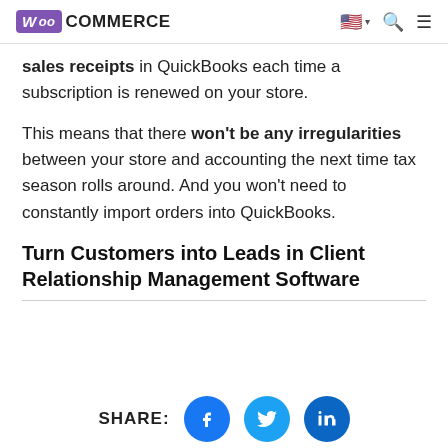WooCommerce
sales receipts in QuickBooks each time a subscription is renewed on your store.
This means that there won't be any irregularities between your store and accounting the next time tax season rolls around. And you won't need to constantly import orders into QuickBooks.
Turn Customers into Leads in Client Relationship Management Software
SHARE: [Facebook] [Twitter] [LinkedIn]